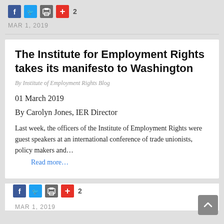[Figure (other): Social share buttons: Facebook (blue), Twitter (blue), print (grey), plus (red), count badge 2]
MAR 1, 2019
The Institute for Employment Rights takes its manifesto to Washington
By Institute of Employment Rights Blog
01 March 2019
By Carolyn Jones, IER Director
Last week, the officers of the Institute of Employment Rights were guest speakers at an international conference of trade unionists, policy makers and…
Read more…
[Figure (other): Social share buttons: Facebook (blue), Twitter (blue), print (grey), plus (red), count badge 2]
MAR 1, 2019